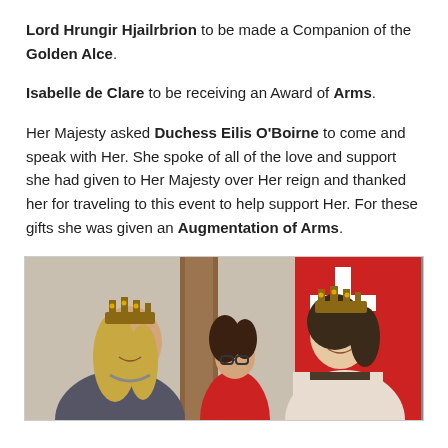Lord Hrungir Hjailrbrion to be made a Companion of the Golden Alce.
Isabelle de Clare to be receiving an Award of Arms.
Her Majesty asked Duchess Eilis O'Boirne to come and speak with Her. She spoke of all of the love and support she had given to Her Majesty over Her reign and thanked her for traveling to this event to help support Her. For these gifts she was given an Augmentation of Arms.
[Figure (photo): Two women wearing crowns facing each other and speaking, with a third woman (brunette, glasses, red shirt) visible in the background. A red banner with white and yellow heraldic symbols is visible on the right. The scene appears to be an indoor ceremony.]